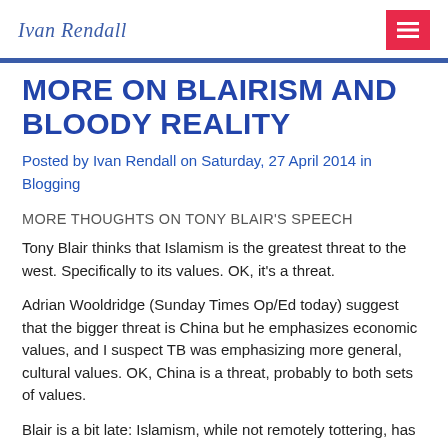Ivan Rendall
MORE ON BLAIRISM AND BLOODY REALITY
Posted by Ivan Rendall on Saturday, 27 April 2014 in Blogging
MORE THOUGHTS ON TONY BLAIR'S SPEECH
Tony Blair thinks that Islamism is the greatest threat to the west. Specifically to its values. OK, it's a threat.
Adrian Wooldridge (Sunday Times Op/Ed today) suggest that the bigger threat is China but he emphasizes economic values, and I suspect TB was emphasizing more general, cultural values. OK, China is a threat, probably to both sets of values.
Blair is a bit late: Islamism, while not remotely tottering, has